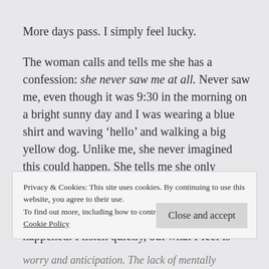More days pass. I simply feel lucky.
The woman calls and tells me she has a confession: she never saw me at all. Never saw me, even though it was 9:30 in the morning on a bright sunny day and I was wearing a blue shirt and waving ‘hello’ and walking a big yellow dog. Unlike me, she never imagined this could happen. She tells me she only stopped because she heard a thud, and it was only when she saw me lying in the grass with my dog that she realized what had just happened. I listen quietly, but what I feel is
Privacy & Cookies: This site uses cookies. By continuing to use this website, you agree to their use.
To find out more, including how to control cookies, see here: Cookie Policy
Close and accept
worry and anticipation. The lack of mentally creating